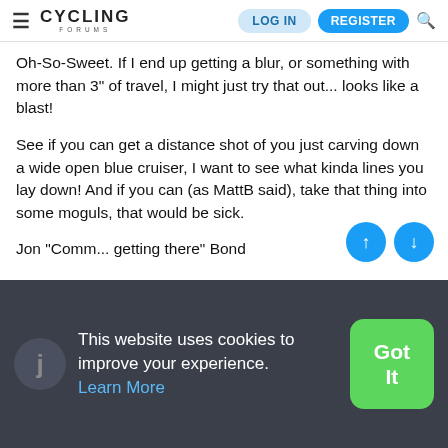CYCLING FORUMS | LOG IN | REGISTER
Oh-So-Sweet. If I end up getting a blur, or something with more than 3" of travel, I might just try that out... looks like a blast!
See if you can get a distance shot of you just carving down a wide open blue cruiser, I want to see what kinda lines you lay down! And if you can (as MattB said), take that thing into some moguls, that would be sick.
Jon "Comm... getting there" Bond
This website uses cookies to improve your experience. Learn More